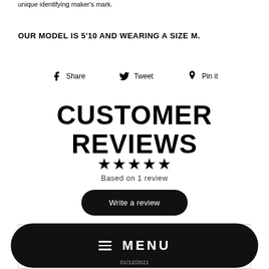unique identifying maker's mark.
OUR MODEL IS 5'10 AND WEARING A SIZE M.
Share  Tweet  Pin it
CUSTOMER REVIEWS
★★★★★
Based on 1 review
Write a review
[Figure (screenshot): Menu bar overlay with hamburger icon and MENU text on black pill-shaped background, overlapping a review card with partial date text]